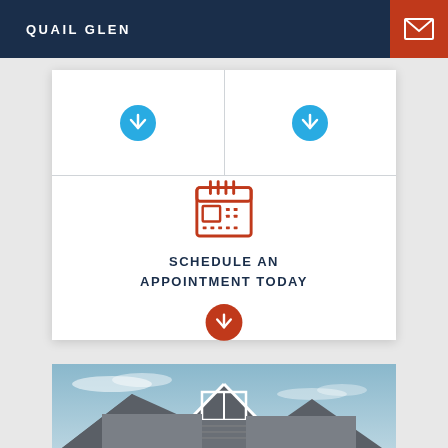QUAIL GLEN
[Figure (infographic): White card with two blue download arrow buttons in top row, and a calendar icon with 'SCHEDULE AN APPOINTMENT TODAY' text and orange download arrow in bottom section]
[Figure (photo): House exterior with gray roof and white trim against blue sky]